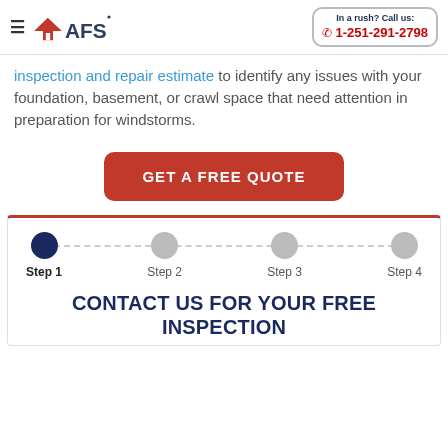AFS | In a rush? Call us: 1-251-291-2798
inspection and repair estimate to identify any issues with your foundation, basement, or crawl space that need attention in preparation for windstorms.
[Figure (other): Red rounded rectangle button labeled GET A FREE QUOTE]
[Figure (infographic): 4-step progress indicator showing Step 1 (active, dark blue dot), Step 2, Step 3, Step 4 (all grey dots) connected by a dashed line]
CONTACT US FOR YOUR FREE INSPECTION